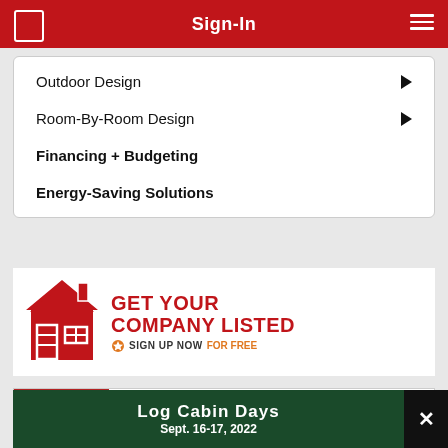Sign-In
Outdoor Design
Room-By-Room Design
Financing + Budgeting
Energy-Saving Solutions
[Figure (infographic): Advertisement: Get Your Company Listed - Sign Up Now For Free, with red house icon]
[Figure (infographic): Log & Timber Home Living magazine subscription advertisement with magazine cover thumbnail and Subscribe Now text]
[Figure (infographic): Log Cabin Days advertisement banner: Sept. 16-17, 2022, dark green background with close button]